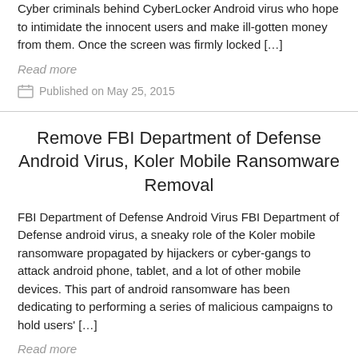Cyber criminals behind CyberLocker Android virus who hope to intimidate the innocent users and make ill-gotten money from them. Once the screen was firmly locked […]
Read more
Published on May 25, 2015
Remove FBI Department of Defense Android Virus, Koler Mobile Ransomware Removal
FBI Department of Defense Android Virus FBI Department of Defense android virus, a sneaky role of the Koler mobile ransomware propagated by hijackers or cyber-gangs to attack android phone, tablet, and a lot of other mobile devices. This part of android ransomware has been dedicating to performing a series of malicious campaigns to hold users' […]
Read more
Published on May 22, 2015